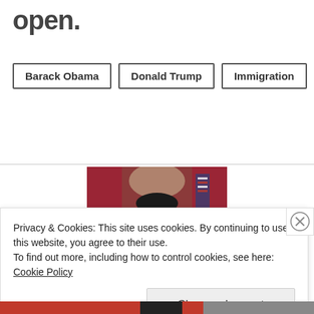open.
Barack Obama
Donald Trump
Immigration
[Figure (photo): Barack Obama smiling in the Oval Office with red curtains and an American flag in the background]
Privacy & Cookies: This site uses cookies. By continuing to use this website, you agree to their use.
To find out more, including how to control cookies, see here: Cookie Policy
Close and accept